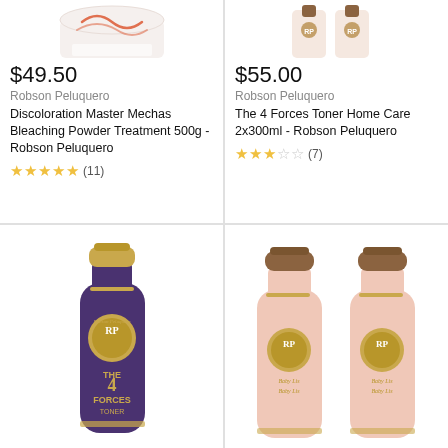[Figure (photo): Product image partially visible at top - bleaching powder container]
$49.50
Robson Peluquero
Discoloration Master Mechas Bleaching Powder Treatment 500g - Robson Peluquero
★★★★★ (11)
[Figure (photo): Product image partially visible at top - toner home care bottles]
$55.00
Robson Peluquero
The 4 Forces Toner Home Care 2x300ml - Robson Peluquero
★★★☆☆ (7)
[Figure (photo): Purple bottle of The 4 Forces Toner product by Robson Peluquero with gold cap and logo]
[Figure (photo): Two pink bottles with gold RP logo and caps - Robson Peluquero hair care product]